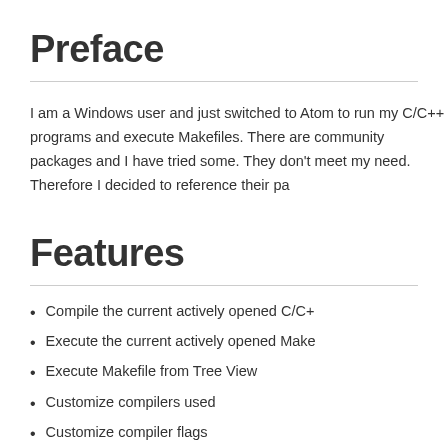Preface
I am a Windows user and just switched to Atom to run my C/C++ programs and execute Makefiles. There are community packages and I have tried some. They don't meet my need. Therefore I decided to reference their pa...
Features
Compile the current actively opened C/C+...
Execute the current actively opened Make...
Execute Makefile from Tree View
Customize compilers used
Customize compiler flags
Customize run options
Shortcut to compile, run [default: F5]...